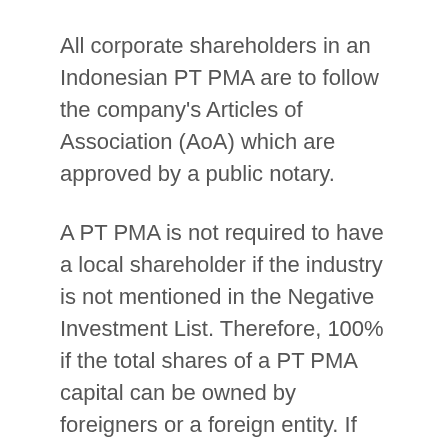All corporate shareholders in an Indonesian PT PMA are to follow the company's Articles of Association (AoA) which are approved by a public notary.
A PT PMA is not required to have a local shareholder if the industry is not mentioned in the Negative Investment List. Therefore, 100% if the total shares of a PT PMA capital can be owned by foreigners or a foreign entity. If the field of business is listed on the Negative Investment List, the PT PMA must have a specified percentage of local Indonesian shareholders.